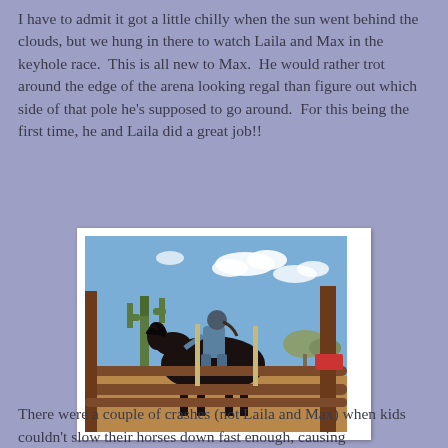I have to admit it got a little chilly when the sun went behind the clouds, but we hung in there to watch Laila and Max in the keyhole race.  This is all new to Max.  He would rather trot around the edge of the arena looking regal than figure out which side of that pole he's supposed to go around.  For this being the first time, he and Laila did a great job!!
[Figure (photo): A child riding a dark horse in an outdoor arena with metal fence rails in the foreground, a saguaro cactus and blue sky with clouds in the background.]
There were a couple of crashes (not Laila and Max) when kids couldn't slow their horses down fast enough, causing